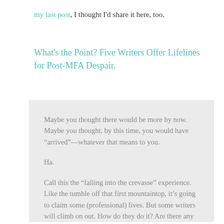my last post, I thought I'd share it here, too.
What's the Point? Five Writers Offer Lifelines for Post-MFA Despair.
Maybe you thought there would be more by now. Maybe you thought, by this time, you would have “arrived”—whatever that means to you.
Ha.
Call this the “falling into the crevasse” experience. Like the tumble off that first mountaintop, it’s going to claim some (professional) lives. But some writers will climb on out. How do they do it? Are there any lifelines out there?